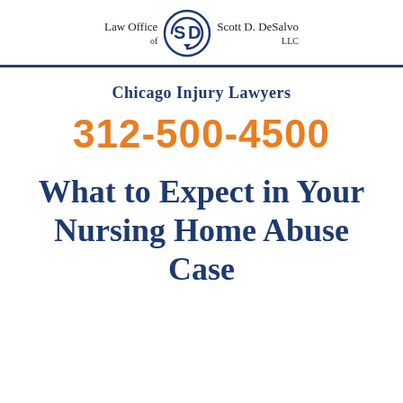[Figure (logo): Law Office of Scott D. DeSalvo LLC logo with SD circular icon]
Chicago Injury Lawyers
312-500-4500
What to Expect in Your Nursing Home Abuse Case